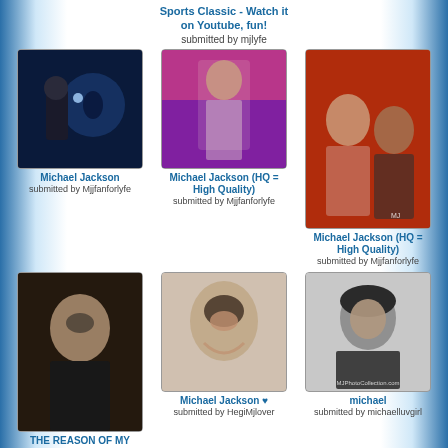Sports Classic - Watch it on Youtube, fun!
submitted by mjlyfe
[Figure (photo): Michael Jackson performing in dark jacket near globe]
Michael Jackson
submitted by Mjjfanforlyfe
[Figure (photo): Michael Jackson singing on stage with pink/purple background]
Michael Jackson (HQ = High Quality)
submitted by Mjjfanforlyfe
[Figure (photo): Michael Jackson and another person on red background, taller photo]
Michael Jackson (HQ = High Quality)
submitted by Mjjfanforlyfe
[Figure (photo): Michael Jackson close-up portrait in dark setting]
THE REASON OF MY LIFE ! ♥ ♥
submitted by HegiMjlover
[Figure (photo): Michael Jackson smiling close-up portrait]
Michael Jackson ♥
submitted by HegiMjlover
[Figure (photo): Young Michael Jackson black and white afro portrait]
michael
submitted by michaelluvgirl
[Figure (photo): Michael Jackson partial portrait on red background]
[Figure (photo): Michael Jackson close-up partial portrait]
[Figure (photo): Young Michael Jackson afro partial portrait]